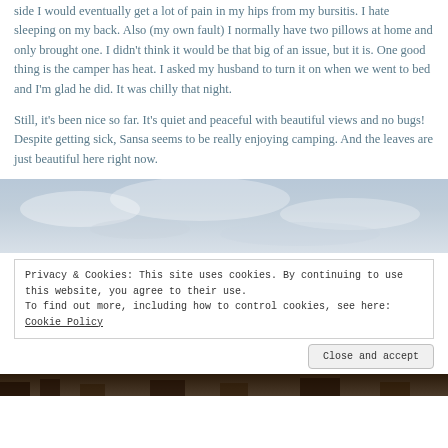side I would eventually get a lot of pain in my hips from my bursitis. I hate sleeping on my back. Also (my own fault) I normally have two pillows at home and only brought one. I didn't think it would be that big of an issue, but it is. One good thing is the camper has heat. I asked my husband to turn it on when we went to bed and I'm glad he did. It was chilly that night.
Still, it's been nice so far. It's quiet and peaceful with beautiful views and no bugs! Despite getting sick, Sansa seems to be really enjoying camping. And the leaves are just beautiful here right now.
[Figure (photo): Outdoor photo showing a cloudy blue-grey sky with light cloud coverage]
Privacy & Cookies: This site uses cookies. By continuing to use this website, you agree to their use.
To find out more, including how to control cookies, see here: Cookie Policy
Close and accept
[Figure (photo): Outdoor nature/camping scene at the bottom of the page, partially visible]